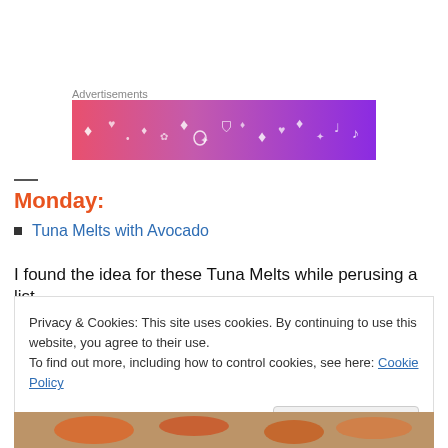Advertisements
[Figure (illustration): Advertisement banner with pink-to-purple gradient background with decorative music and nature icons in white outline style]
Monday:
Tuna Melts with Avocado
I found the idea for these Tuna Melts while perusing a list
Privacy & Cookies: This site uses cookies. By continuing to use this website, you agree to their use.
To find out more, including how to control cookies, see here: Cookie Policy
[Figure (photo): Food photo showing colorful ingredients in a pan]